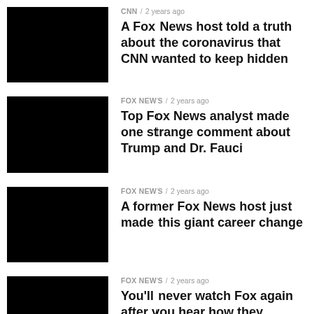[Figure (photo): Black thumbnail image for article 1]
CNN / 2 years ago
A Fox News host told a truth about the coronavirus that CNN wanted to keep hidden
[Figure (photo): Black thumbnail image for article 2]
FOX NEWS / 2 years ago
Top Fox News analyst made one strange comment about Trump and Dr. Fauci
[Figure (photo): Black thumbnail image for article 3]
FOX NEWS / 2 years ago
A former Fox News host just made this giant career change
[Figure (photo): Black thumbnail image for article 4]
FOX NEWS / 2 years ago
You'll never watch Fox again after you hear how they planned to celebrate the 4th of July